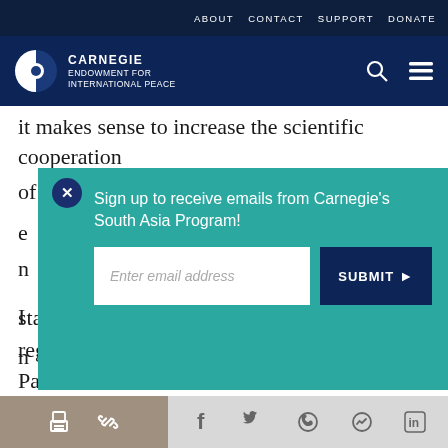ABOUT  CONTACT  SUPPORT  DONATE
[Figure (logo): Carnegie Endowment for International Peace logo with globe icon on dark navy background]
it makes sense to increase the scientific cooperation of both countries on medical as well as
Sign up to receive emails from Carnegie's South Asia Program!
states capable of contributing substantively to regional stability. Australia is also viewed in Paris as
Social share icons: print, link, Facebook, Twitter, WhatsApp, Messenger, LinkedIn